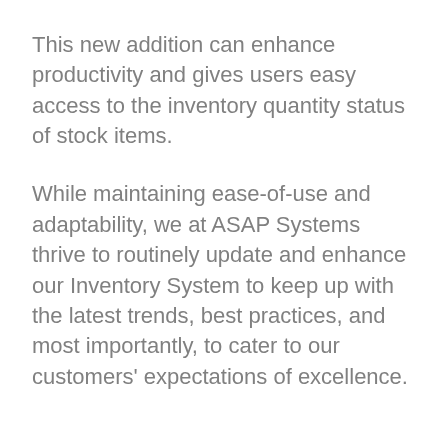This new addition can enhance productivity and gives users easy access to the inventory quantity status of stock items.
While maintaining ease-of-use and adaptability, we at ASAP Systems thrive to routinely update and enhance our Inventory System to keep up with the latest trends, best practices, and most importantly, to cater to our customers' expectations of excellence.